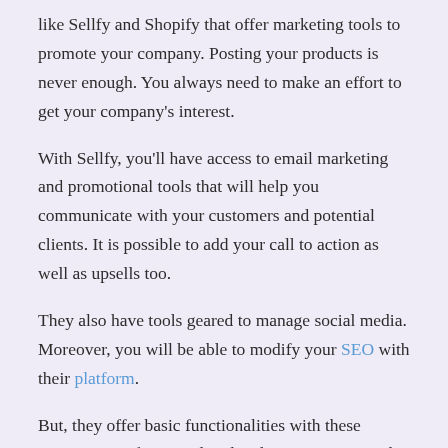like Sellfy and Shopify that offer marketing tools to promote your company. Posting your products is never enough. You always need to make an effort to get your company's interest.
With Sellfy, you'll have access to email marketing and promotional tools that will help you communicate with your customers and potential clients. It is possible to add your call to action as well as upsells too.
They also have tools geared to manage social media. Moreover, you will be able to modify your SEO with their platform.
But, they offer basic functionalities with these instruments. If you're already a large company and are planning to go all out on your marketing strategy. If that's the case, Sellfy might be a small bit disappointing for you.
Who are they for?